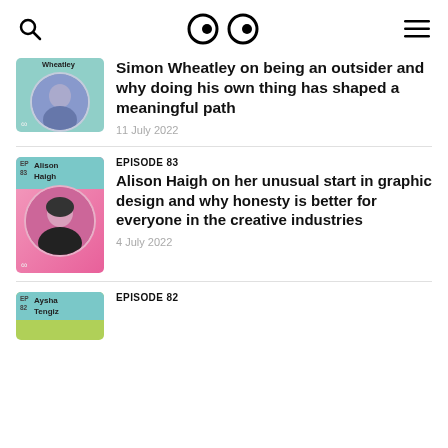Navigation bar with search, logo (eyes), and menu icons
Simon Wheatley on being an outsider and why doing his own thing has shaped a meaningful path — 11 July 2022
EPISODE 83 — Alison Haigh on her unusual start in graphic design and why honesty is better for everyone in the creative industries — 4 July 2022
EPISODE 82 — Aysha Tengiz